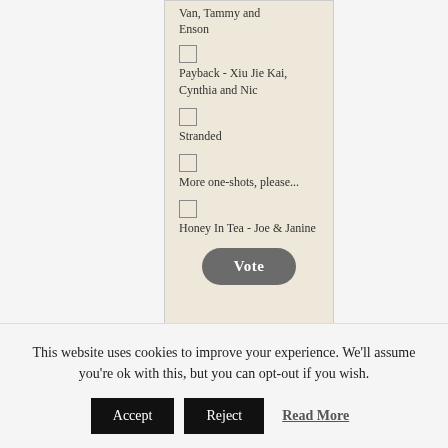Van, Tammy and Enson
Payback - Xiu Jie Kai, Cynthia and Nic
Stranded
More one-shots, please...
Honey In Tea - Joe & Janine
Vote
This website uses cookies to improve your experience. We'll assume you're ok with this, but you can opt-out if you wish.
Accept
Reject
Read More